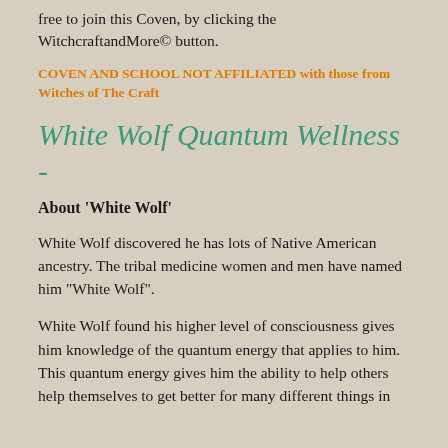free to join this Coven, by clicking the WitchcraftandMore© button.
COVEN AND SCHOOL NOT AFFILIATED with those from Witches of The Craft
White Wolf Quantum Wellness -
About 'White Wolf'
White Wolf discovered he has lots of Native American ancestry. The tribal medicine women and men have named him "White Wolf".
White Wolf found his higher level of consciousness gives him knowledge of the quantum energy that applies to him. This quantum energy gives him the ability to help others help themselves to get better for many different things in